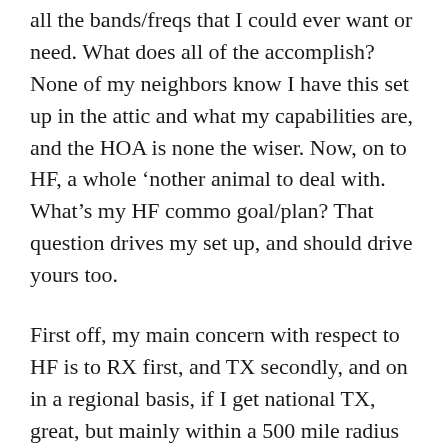all the bands/freqs that I could ever want or need. What does all of the accomplish? None of my neighbors know I have this set up in the attic and what my capabilities are, and the HOA is none the wiser. Now, on to HF, a whole ‘nother animal to deal with. What’s my HF commo goal/plan? That question drives my set up, and should drive yours too.
First off, my main concern with respect to HF is to RX first, and TX secondly, and on in a regional basis, if I get national TX, great, but mainly within a 500 mile radius which gets all of the Southeast, out to Memphis, up to Detroitistan, and North of Philly, down to central Florida and the entire eastern seacoast for marine traffic. That’s pretty much all I